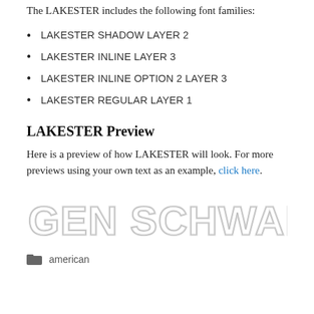The LAKESTER includes the following font families:
LAKESTER SHADOW LAYER 2
LAKESTER INLINE LAYER 3
LAKESTER INLINE OPTION 2 LAYER 3
LAKESTER REGULAR LAYER 1
LAKESTER Preview
Here is a preview of how LAKESTER will look. For more previews using your own text as an example, click here.
[Figure (illustration): Large stylized font preview text reading 'GEN SCHWARZKOPF' in an inline/outlined decorative style with shadow layers visible]
american